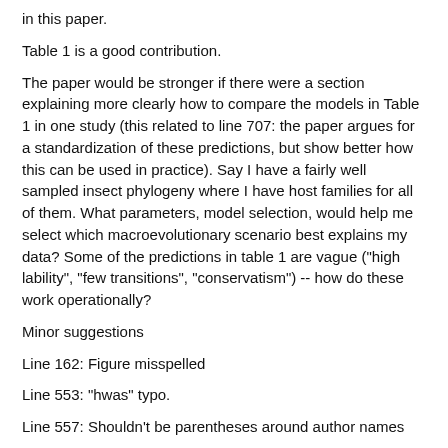in this paper.
Table 1 is a good contribution.
The paper would be stronger if there were a section explaining more clearly how to compare the models in Table 1 in one study (this related to line 707: the paper argues for a standardization of these predictions, but show better how this can be used in practice). Say I have a fairly well sampled insect phylogeny where I have host families for all of them. What parameters, model selection, would help me select which macroevolutionary scenario best explains my data? Some of the predictions in table 1 are vague ("high lability", "few transitions", "conservatism") -- how do these work operationally?
Minor suggestions
Line 162: Figure misspelled
Line 553: "hwas" typo.
Line 557: Shouldn't be parentheses around author names
I would say BiSSE and related methods are referred to more as SSE or *SSE rather than -SSE methods.
Line 613: This is a good point, but it's even worse than that: